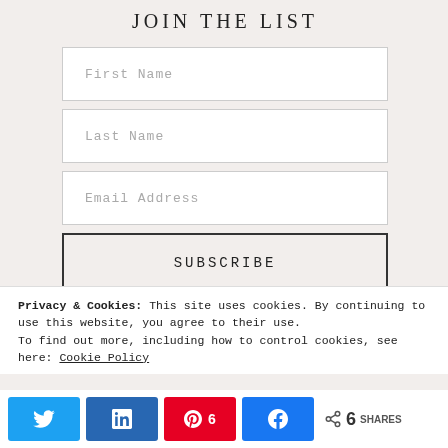JOIN THE LIST
First Name
Last Name
Email Address
SUBSCRIBE
Privacy & Cookies: This site uses cookies. By continuing to use this website, you agree to their use.
To find out more, including how to control cookies, see here: Cookie Policy
Twitter | LinkedIn | Pinterest 6 | Facebook | Share 6 SHARES